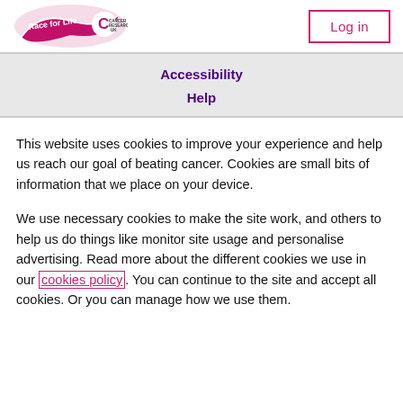[Figure (logo): Race for Life and Cancer Research UK logo — a pink ribbon with text 'Race for Life' and the Cancer Research UK 'C' logo]
[Figure (other): Log in button with pink border]
Accessibility
Help
This website uses cookies to improve your experience and help us reach our goal of beating cancer. Cookies are small bits of information that we place on your device.
We use necessary cookies to make the site work, and others to help us do things like monitor site usage and personalise advertising. Read more about the different cookies we use in our cookies policy. You can continue to the site and accept all cookies. Or you can manage how we use them.